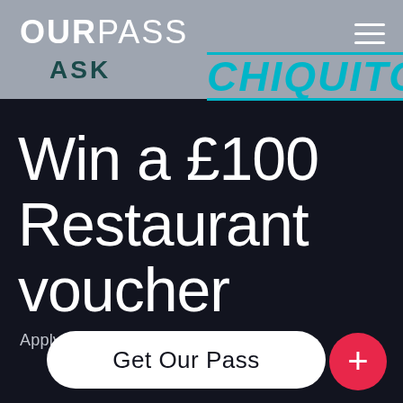OURPASS
[Figure (logo): OurPass logo with ASK and CHIQUITO restaurant brand logos in header navigation bar]
Win a £100 Restaurant voucher
Apply before Fri 30 Sep
Get Our Pass